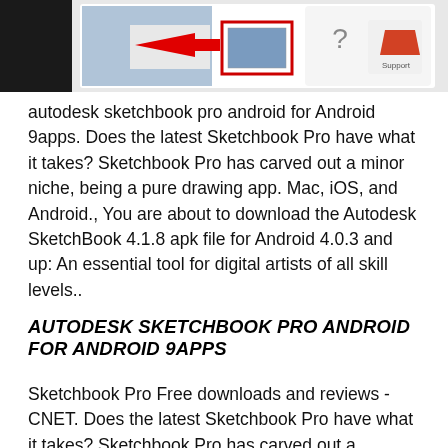[Figure (screenshot): Screenshot of Autodesk Sketchbook app interface showing artwork and UI elements with a red arrow pointing to a highlighted icon, partially cropped at top of page.]
autodesk sketchbook pro android for Android 9apps. Does the latest Sketchbook Pro have what it takes? Sketchbook Pro has carved out a minor niche, being a pure drawing app. Mac, iOS, and Android., You are about to download the Autodesk SketchBook 4.1.8 apk file for Android 4.0.3 and up: An essential tool for digital artists of all skill levels..
AUTODESK SKETCHBOOK PRO ANDROID FOR ANDROID 9APPS
Sketchbook Pro Free downloads and reviews - CNET. Does the latest Sketchbook Pro have what it takes? Sketchbook Pro has carved out a